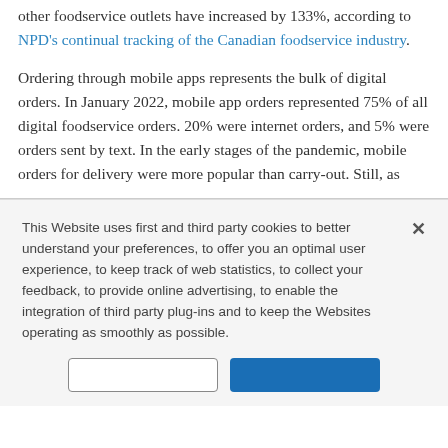other foodservice outlets have increased by 133%, according to NPD's continual tracking of the Canadian foodservice industry.
Ordering through mobile apps represents the bulk of digital orders. In January 2022, mobile app orders represented 75% of all digital foodservice orders. 20% were internet orders, and 5% were orders sent by text. In the early stages of the pandemic, mobile orders for delivery were more popular than carry-out. Still, as
This Website uses first and third party cookies to better understand your preferences, to offer you an optimal user experience, to keep track of web statistics, to collect your feedback, to provide online advertising, to enable the integration of third party plug-ins and to keep the Websites operating as smoothly as possible.